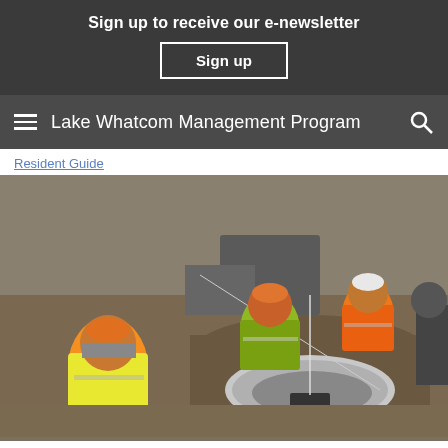Sign up to receive our e-newsletter
Sign up
Lake Whatcom Management Program
Resident Guide
[Figure (photo): Construction workers in high-visibility vests and hard hats working on an excavation, installing or inspecting a large concrete cylindrical structure (manhole/vault) in the ground on a gravel surface.]